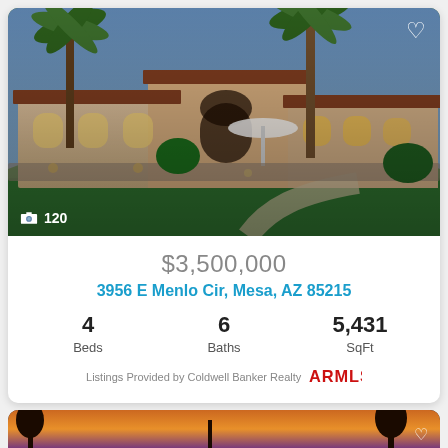[Figure (photo): Luxury Mediterranean-style single-story home with palm trees, lush green lawn, arched entryway, and outdoor lighting at dusk]
120
$3,500,000
3956 E Menlo Cir, Mesa, AZ 85215
4 Beds   6 Baths   5,431 SqFt
Listings Provided by Coldwell Banker Realty
[Figure (photo): Second property listing photo showing palm trees at sunset with orange and purple sky]